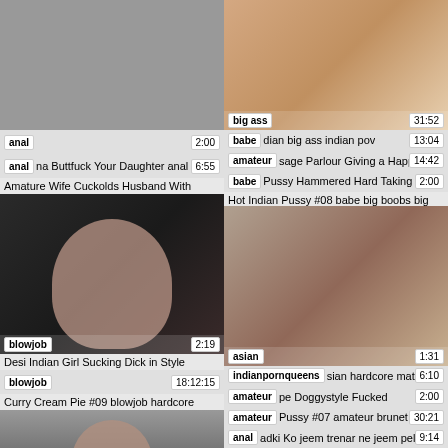[Figure (screenshot): Adult video thumbnail grid - left column top: dark placeholder]
[Figure (screenshot): Adult video thumbnail - right column top: woman on bed]
anal 2:00
big ass 31:52
anal na Buttfuck Your Daughter anal 6:55
babe dian big ass indian pov 13:04
amateur sage Parlour Giving a Happ 14:42
Amature Wife Cuckolds Husband With
babe Pussy Hammered Hard Taking 2:00
Hot Indian Pussy #08 babe big boobs big
[Figure (screenshot): Adult video thumbnail - woman lying down, blowjob tag, 2:19]
[Figure (screenshot): Adult video thumbnail - couple on bed, asian tag, 1:31]
Desi Indian Girl Sucking Dick in Style
blowjob 18:12:15
indianpornqueens sian hardcore matu 6:10
Curry Cream Pie #09 blowjob hardcore
amateur pe Doggystyle Fucked 2:00
amateur Pussy #07 amateur brunet 30:21
[Figure (screenshot): Adult video thumbnail - person in room, bottom left]
anal adki Ko jeem trenar ne jeem pele 9:14